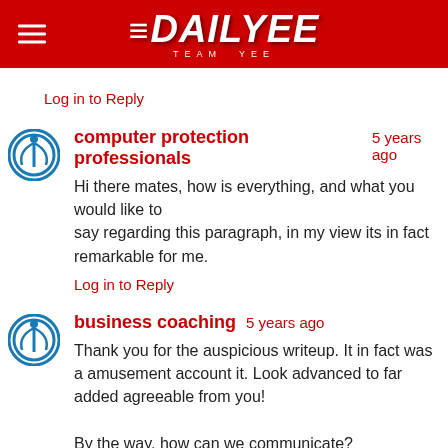DAILYEE TEAM YEE
Log in to Reply
computer protection professionals  5 years ago
Hi there mates, how is everything, and what you would like to say regarding this paragraph, in my view its in fact remarkable for me.
Log in to Reply
business coaching  5 years ago
Thank you for the auspicious writeup. It in fact was a amusement account it. Look advanced to far added agreeable from you!

By the way, how can we communicate?